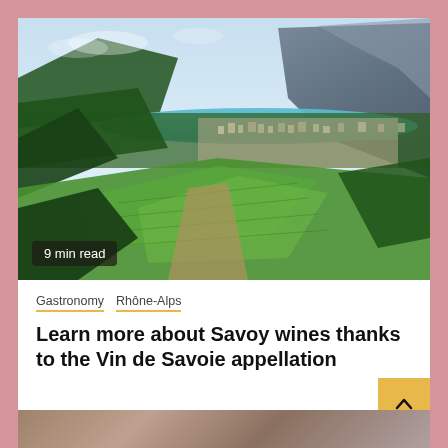[Figure (photo): Aerial landscape photo of Savoy region showing green vineyards and fields in the foreground, a town and turquoise lake in the middle ground, and mountains in the background under a light blue sky.]
9 min read
Gastronomy  Rhône-Alps
Learn more about Savoy wines thanks to the Vin de Savoie appellation
[Figure (photo): Partial view of a second article image showing a blurred/dark scene at the bottom of the page.]